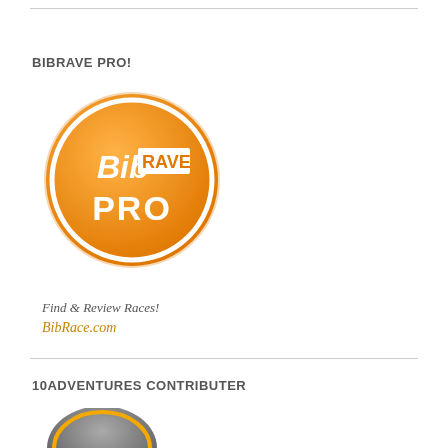BIBRAVE PRO!
[Figure (logo): BibRave Pro circular orange logo with white text reading 'Bib RAVE PRO' on an orange gradient background with white border ring]
Find & Review Races!
BibRace.com
10ADVENTURES CONTRIBUTER
[Figure (logo): 10Adventures contributor circular logo, partially visible at bottom of page]